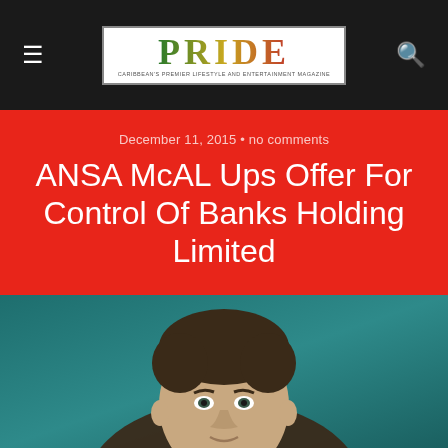PRIDE
December 11, 2015 • no comments
ANSA McAL Ups Offer For Control Of Banks Holding Limited
[Figure (photo): Headshot of a man in a suit against a teal background]